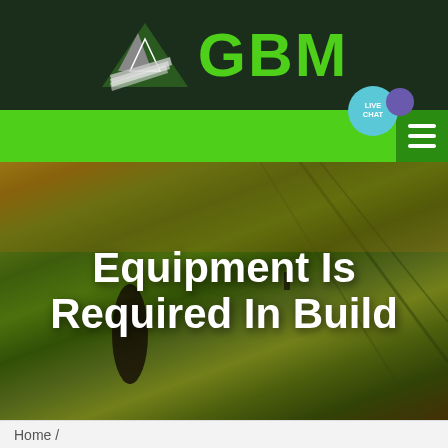[Figure (logo): GBM logo with mountain/arrow graphic on dark green background header bar]
[Figure (screenshot): Green navigation bar with hamburger menu icon and live chat bubble]
[Figure (photo): Aerial photo of agricultural fields with green and golden tones, trees visible]
Equipment Is Required In Build
Home /